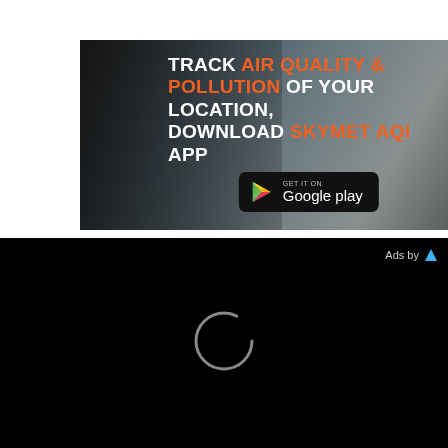[Figure (screenshot): Advertisement banner for Skymet AQI app. Dark background with people wearing masks in polluted environment. Text: TRACK AIR QUALITY & POLLUTION OF YOUR LOCATION, DOWNLOAD SKYMET AQI APP. Google Play download button at bottom.]
[Figure (screenshot): Black video loading area with a circular spinner in the center and 'Ads by' text with a blue triangle logo in the top right corner.]